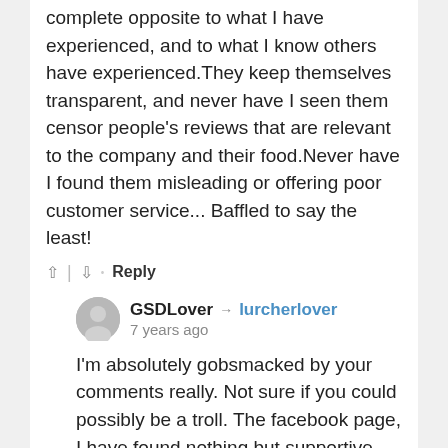complete opposite to what I have experienced, and to what I know others have experienced.They keep themselves transparent, and never have I seen them censor people's reviews that are relevant to the company and their food.Never have I found them misleading or offering poor customer service... Baffled to say the least!
↑ | ↓ · Reply
GSDLover → lurcherlover
7 years ago
I'm absolutely gobsmacked by your comments really. Not sure if you could possibly be a troll. The facebook page, I have found nothing but supportive and informative. Oh dear! Sometimes, just sometimes, you may have to wait a few minutes to get a response from the Millies team, but even if you do have to wait for a couple of minutes, other members share their full support